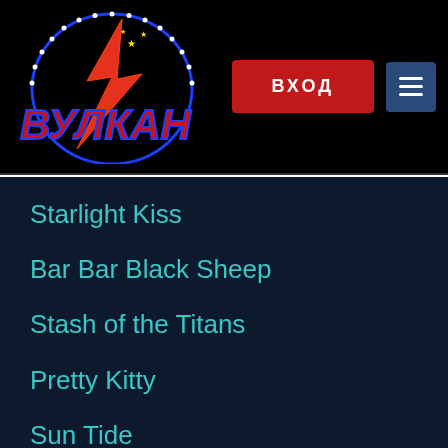[Figure (logo): Vulkan casino logo: red text ВУЛКАН with lightning bolt and neon blue arc with white dots]
ВХОД
Starlight Kiss
Bar Bar Black Sheep
Stash of the Titans
Pretty Kitty
Sun Tide
Shoot